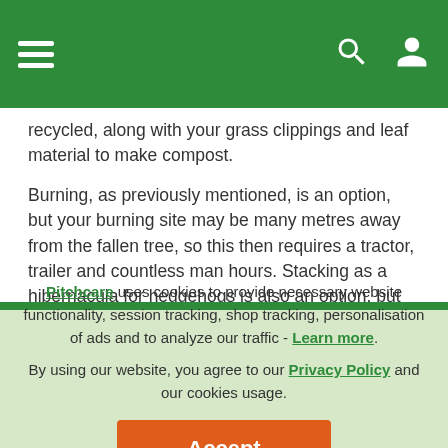[Navigation bar with hamburger menu, search icon, and user icon]
recycled, along with your grass clippings and leaf material to make compost.
Burning, as previously mentioned, is an option, but your burning site may be many metres away from the fallen tree, so this then requires a tractor, trailer and countless man hours. Stacking as a hibernacula for hedgehogs is also an option, but you then have to take into account that there is now a fire risk during the summer months when the stacked twigs and branches start to dry out -
Pitchcare uses cookies to provide necessary website functionality, session tracking, shop tracking, personalisation of ads and to analyze our traffic - Learn more. By using our website, you agree to our Privacy Policy and our cookies usage.
Accept